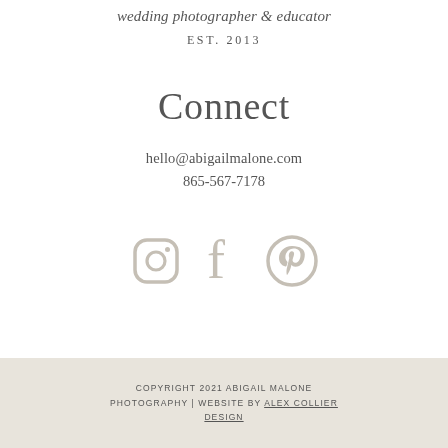wedding photographer & educator
EST. 2013
Connect
hello@abigailmalone.com
865-567-7178
[Figure (illustration): Three social media icons: Instagram, Facebook, Pinterest, rendered in light gray]
COPYRIGHT 2021 ABIGAIL MALONE PHOTOGRAPHY | WEBSITE BY ALEX COLLIER DESIGN